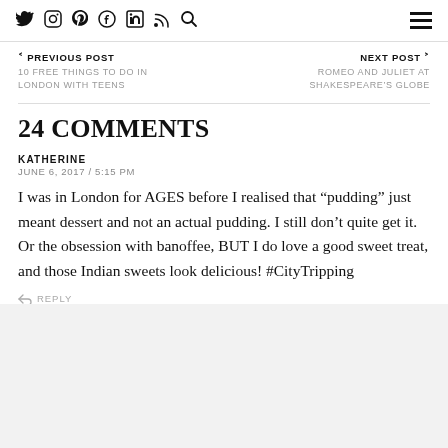Social icons navigation bar with Twitter, Instagram, Pinterest, Facebook, LinkedIn, RSS, Search icons and hamburger menu
< PREVIOUS POST
10 FREE THINGS TO DO IN LONDON WITH TEENS
NEXT POST >
ROMEO AND JULIET AT SHAKESPEARE'S GLOBE
24 COMMENTS
KATHERINE
JUNE 6, 2017 / 5:15 PM
I was in London for AGES before I realised that “pudding” just meant dessert and not an actual pudding. I still don’t quite get it. Or the obsession with banoffee, BUT I do love a good sweet treat, and those Indian sweets look delicious! #CityTripping
REPLY